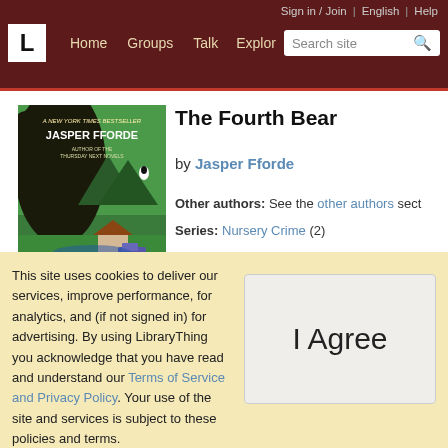Sign in / Join | English | Help | Home | Groups | Talk | Explore | Search site
[Figure (illustration): Book cover of 'The Fourth Bear' by Jasper Fforde. Green background showing a large bear silhouette, mountains, a cottage and police car. Text: 'A New York Times Bestseller', 'Jasper Fforde', 'Author of the Thursday Next Novels', 'Jack Spratt Investigates', 'The Fourth'. Penguin Books logo.]
The Fourth Bear
by Jasper Fforde
Other authors: See the other authors sect
Series: Nursery Crime (2)
| Members | Reviews |  |
| --- | --- | --- |
This site uses cookies to deliver our services, improve performance, for analytics, and (if not signed in) for advertising. By using LibraryThing you acknowledge that you have read and understand our Terms of Service and Privacy Policy. Your use of the site and services is subject to these policies and terms.
I Agree